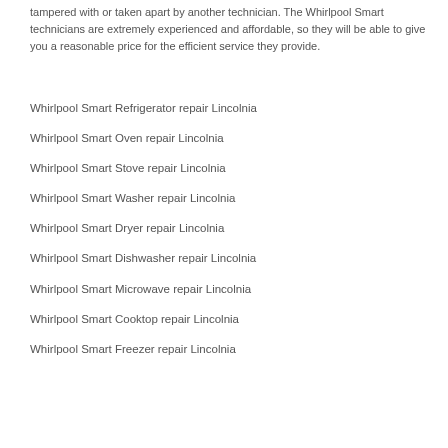tampered with or taken apart by another technician. The Whirlpool Smart technicians are extremely experienced and affordable, so they will be able to give you a reasonable price for the efficient service they provide.
Whirlpool Smart Refrigerator repair Lincolnia
Whirlpool Smart Oven repair Lincolnia
Whirlpool Smart Stove repair Lincolnia
Whirlpool Smart Washer repair Lincolnia
Whirlpool Smart Dryer repair Lincolnia
Whirlpool Smart Dishwasher repair Lincolnia
Whirlpool Smart Microwave repair Lincolnia
Whirlpool Smart Cooktop repair Lincolnia
Whirlpool Smart Freezer repair Lincolnia